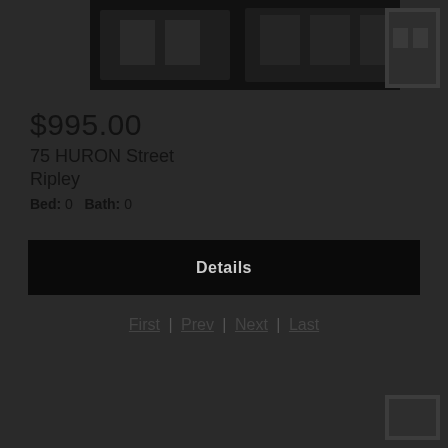[Figure (photo): Property exterior photo at top of listing card, dark/night image of building]
$995.00
75 HURON Street
Ripley
Bed: 0  Bath: 0
Details
First | Prev | Next | Last